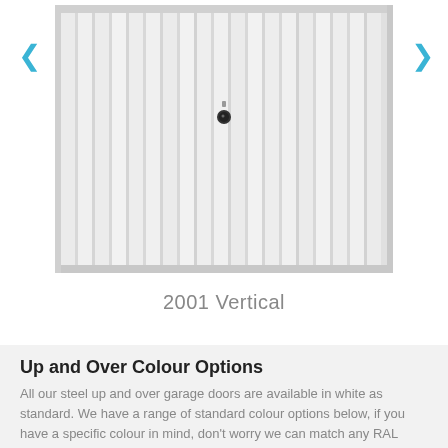[Figure (photo): A white steel up-and-over garage door with vertical ribbed panels and a central lock/handle, shown with left and right navigation arrows on either side.]
2001 Vertical
Up and Over Colour Options
All our steel up and over garage doors are available in white as standard. We have a range of standard colour options below, if you have a specific colour in mind, don't worry we can match any RAL colour.